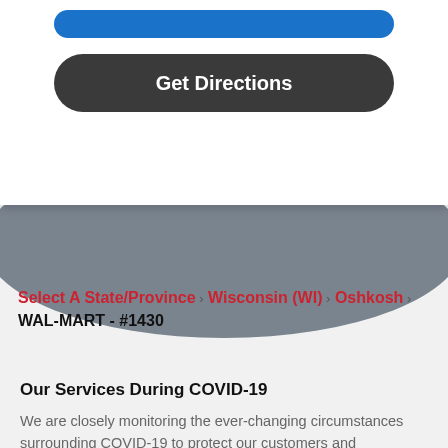[Figure (screenshot): Blue pill-shaped button at top of card]
[Figure (screenshot): Dark rounded 'Get Directions' button on white card]
[Figure (screenshot): Gray semi-circle representing a map/globe view with a tab on right side]
Select A State/Province › Wisconsin (WI) › Oshkosh › WAL-MART - #1430
Our Services During COVID-19
We are closely monitoring the ever-changing circumstances surrounding COVID-19 to protect our customers and employees. If you are using our services during the time, please remember to: